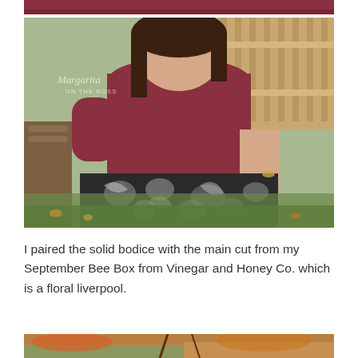[Figure (photo): Partial cropped photo at top showing burgundy/maroon fabric — top of previous image]
[Figure (photo): Woman wearing a burgundy turtleneck short-sleeve fitted top paired with a black and white floral liverpool skirt, standing outdoors in a backyard with a wooden fence and green lawn. Watermark reads 'Margarita ON THE ROSS'.]
I paired the solid bodice with the main cut from my September Bee Box from Vinegar and Honey Co. which is a floral liverpool.
[Figure (photo): Partial photo at bottom showing outdoor autumn scenery — beginning of next image]